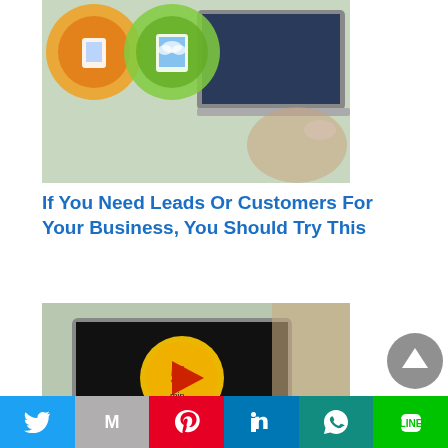[Figure (photo): Collage of digital marketing images showing a person using a smartphone, tablet with cloud icon, and a laptop on a desk]
If You Need Leads Or Customers For Your Business, You Should Try This
[Figure (photo): Person watching a laptop showing a 5-minute video thumbnail with yellow timer clock icon, with coffee cup beside the laptop]
Here Is How To Explain Your Services Or Products To A Mass Audience
[Figure (other): Scroll-to-top button (grey circle with up arrow)]
Twitter | Gmail | Pinterest | LinkedIn | WhatsApp | Line social sharing buttons